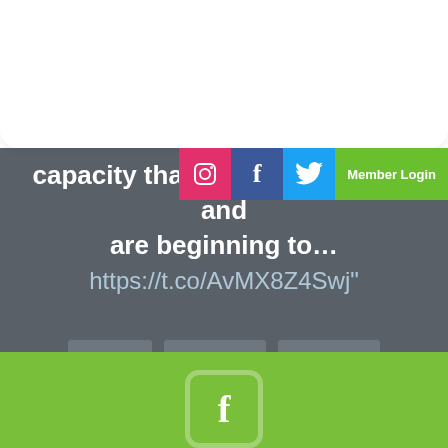[Figure (logo): TMDuche & sons ltd logo with green feather/leaf icon and grey hamburger menu icon]
capacity than in recent months and are beginning to… https://t.co/AvMX8Z4Swj"
Reply   Retweet   Favorite
10:45 AM Feb 12
Follow @tmduche
[Figure (illustration): Green footer bar with Facebook icon]